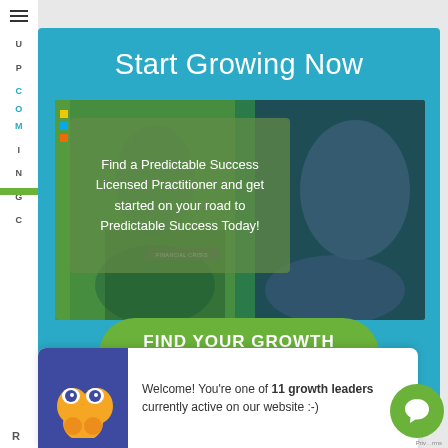Start Growing Now
[Figure (screenshot): Group of business people working, with semi-transparent green overlay containing text: Find a Predictable Success Licensed Practitioner and get started on your road to Predictable Success Today!]
Find a Predictable Success Licensed Practitioner and get started on your road to Predictable Success Today!
FIND YOUR GROWTH PARTNER
Welcome! You're one of 11 growth leaders currently active on our website :-)